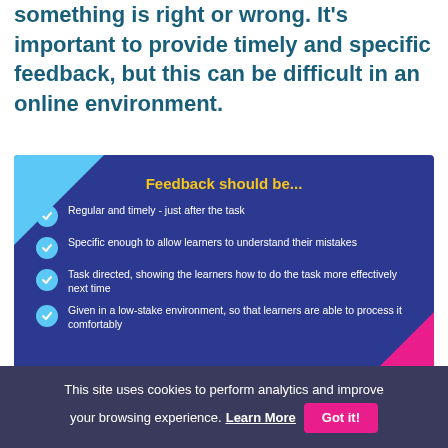Good feedback doesn't just tell us whether something is right or wrong. It's important to provide timely and specific feedback, but this can be difficult in an online environment.
[Figure (infographic): Dark blue infographic box titled 'Feedback should be...' with four checkmark bullet points: 'Regular and timely - just after the task', 'Specific enough to allow learners to understand their mistakes', 'Task directed, showing the learners how to do the task more effectively next time', 'Given in a low-stake environment, so that learners are able to process it comfortably'. Light blue triangle decoration top-left, pink triangle decoration bottom-right.]
This site uses cookies to perform analytics and improve your browsing experience. Learn More  Got it!